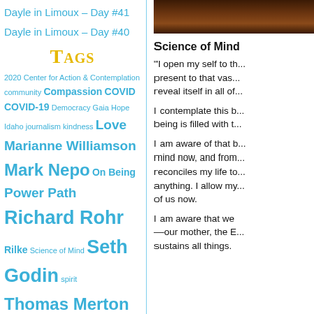Dayle in Limoux – Day #41
Dayle in Limoux – Day #40
Tags
2020 Center for Action & Contemplation community Compassion COVID COVID-19 Democracy Gaia Hope Idaho journalism kindness Love Marianne Williamson Mark Nepo On Being Power Path Richard Rohr Rilke Science of Mind Seth Godin spirit Thomas Merton Truth Vote
Archive
November 2021
S  M  T  W  T  F  S
[Figure (photo): Dark brown wooden surface photo strip at top right]
Science of Mind
“I open my self to th... present to that vas... reveal itself in all of...
I contemplate this b... being is filled with t...
I am aware of that b... mind now, and from... reconciles my life to... anything. I allow my... of us now.
I am aware that we —our mother, the E... sustains all things.